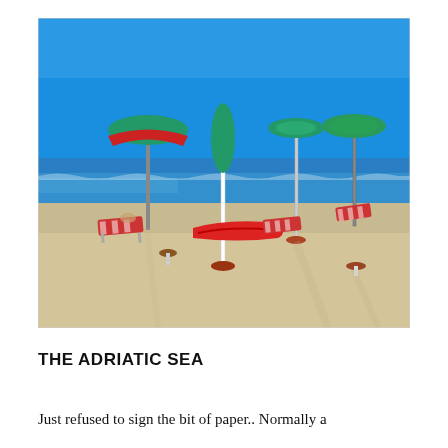[Figure (photo): A beach scene at the Adriatic Sea. Sandy beach with red and white striped lounge chairs, green beach umbrellas with red canopies, a red pedal boat, and small mushroom-shaped side tables on white poles. The blue sea and clear blue sky are visible in the background.]
THE ADRIATIC SEA
Just refused to sign the bit of paper.. Normally a